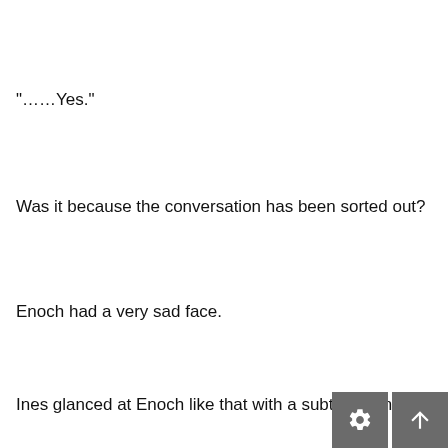"……Yes."
Was it because the conversation has been sorted out?
Enoch had a very sad face.
Ines glanced at Enoch like that with a subtle feeling.